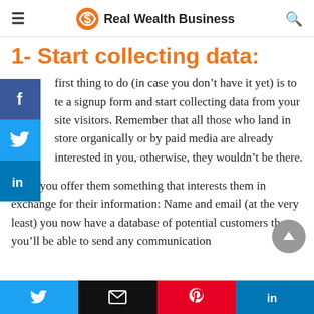Real Wealth Business
1- Start collecting data:
first thing to do (in case you don't have it yet) is to te a signup form and start collecting data from your site visitors. Remember that all those who land in store organically or by paid media are already interested in you, otherwise, they wouldn't be there.
So, if you offer them something that interests them in exchange for their information: Name and email (at the very least) you now have a database of potential customers that you'll be able to send any communication
Social share bar: Twitter, Email, Pinterest, LinkedIn